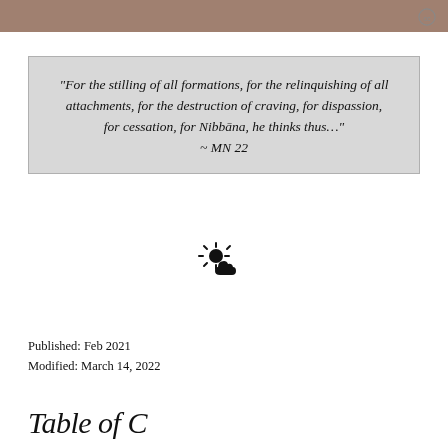“For the stilling of all formations, for the relinquishing of all attachments, for the destruction of craving, for dispassion, for cessation, for Nibbāna, he thinks thus…” ~ MN 22
[Figure (illustration): Weather icon showing sun partially behind a cloud]
Published: Feb 2021
Modified: March 14, 2022
Table of C